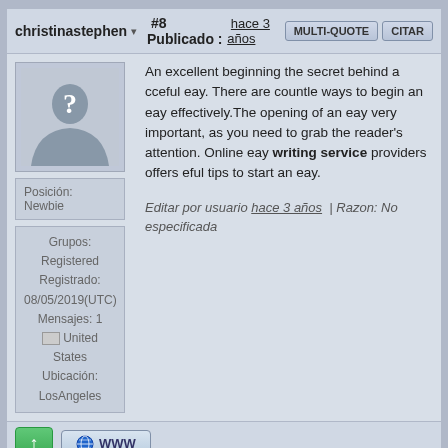christinastephen ▾
#8 Publicado : hace 3 años
An excellent beginning the secret behind a cceful eay. There are countle ways to begin an eay effectively.The opening of an eay very important, as you need to grab the reader's attention. Online eay writing service providers offers eful tips to start an eay.
Editar por usuario hace 3 años  | Razon: No especificada
Posición: Newbie
Grupos: Registered
Registrado: 08/05/2019(UTC)
Mensajes: 1
United States
Ubicación: LosAngeles
alanmartinpmp ▾
#9 Publicado : hace 3 años